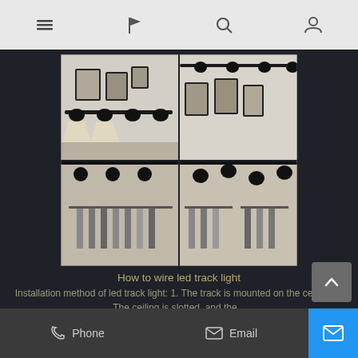Navigation bar with menu, flag, search, and user icons
[Figure (photo): Four-panel collage of LED track lights installed in rooms with framed artwork on white walls and clothing store displays]
How to wire led track light
Installation method of led track light: 1. The track is mounted on the ceiling. 2. The ceiling is slotted, and the...
[Figure (photo): LED track light strip mounted on ceiling in a modern interior room]
How to install LED track lights?
Phone    Email